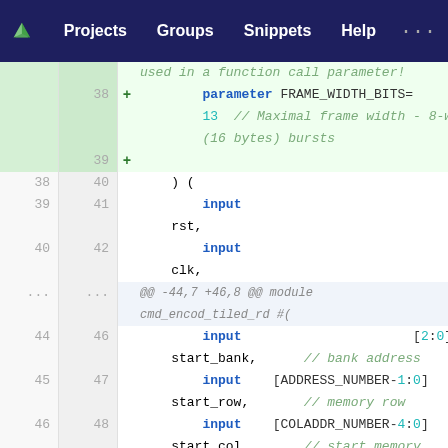Projects  Groups  Snippets  Help
[Figure (screenshot): GitLab code diff view showing Verilog/SystemVerilog source code changes. Added lines (green background) show parameter FRAME_WIDTH_BITS=13 with comment about maximal frame width 8-word (16 bytes) bursts, line 39 blank. Context lines show ) ( input rst, input clk. Hunk header @@ -44,7 +46,8 @@ module cmd_encod_tiled_rd #(. Context lines: input [2:0] start_bank with bank address comment, input [ADDRESS_NUMBER-1:0] start_row with memory row comment, input [COLADDR_NUMBER-4:0] start_col with start memory column comment. Deleted line 47: input]